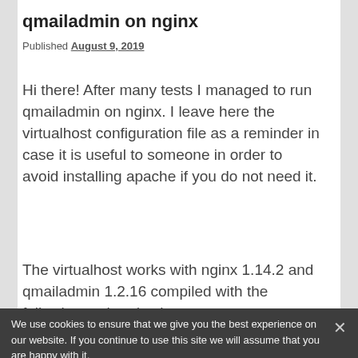qmailadmin on nginx
Published August 9, 2019
Hi there! After many tests I managed to run qmailadmin on nginx. I leave here the virtualhost configuration file as a reminder in case it is useful to someone in order to avoid installing apache if you do not need it.
The virtualhost works with nginx 1.14.2 and qmailadmin 1.2.16 compiled with the following options/paths:
We use cookies to ensure that we give you the best experience on our website. If you continue to use this site we will assume that you are happy with it.
3.    --enable-htmldir=/usr/local/www/htdoc
4.    --enable-cgipath=/cgi-bin/qmailadmin \
5.    --enable-htmldir=/usr/local/www/htdo
6.    --enable-imagedir=/qmailadmin_img \
7.    --enable-htmllibdir=/usr/local/www/ht